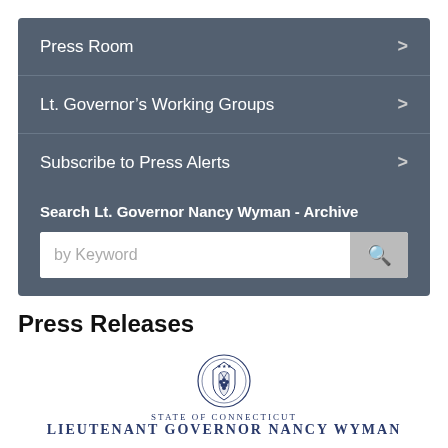Press Room >
Lt. Governor's Working Groups >
Subscribe to Press Alerts >
Search Lt. Governor Nancy Wyman - Archive
by Keyword [search box]
Press Releases
[Figure (logo): State of Connecticut seal with Lieutenant Governor Nancy Wyman text]
Contact: Steve Jensen
860-524-7377    April 8, 2013
Steve.Jensen@ct.gov